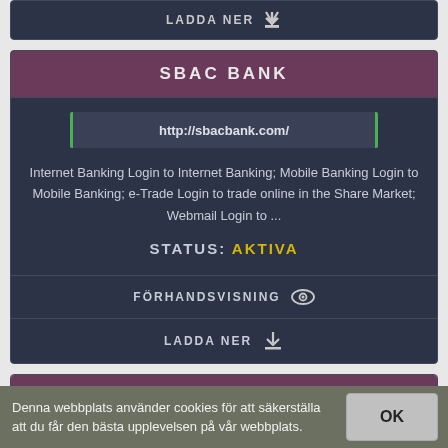LADDA NER
SBAC BANK
http://sbacbank.com/
Internet Banking Login to Internet Banking; Mobile Banking Login to Mobile Banking; e-Trade Login to trade online in the Share Market; Webmail Login to ...
STATUS: AKTIVA
FÖRHANDSVISNING
LADDA NER
VKB-BANK: ANMELDUNG
Denna webbplats använder cookies för att säkerställa att du får den bästa upplevelsen på vår webbplats.